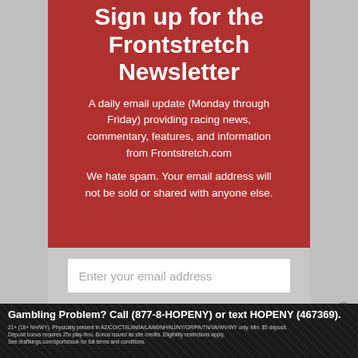Sign up for the Frontstretch Newsletter
A daily email update (Monday through Friday) providing racing news, commentary, features, and information from Frontstretch.com
We hate spam. Your email address will not be sold or shared with anyone else.
Enter your email address
Gambling Problem? Call (877-8-HOPENY) or text HOPENY (467369). 21+ (18+ NH/WY). Physically present in AZ/CO/CT/IL/IN/IA/LA/MI/NH/NJ/NY/OR/PA/TN/VA/WV/WY only. Min. $5 deposit. Deposit bonus requires 25x play-thru. Bonus issued as site credits. Eligibility restrictions apply. See draftkings.com/sportsbook for full terms and conditions.